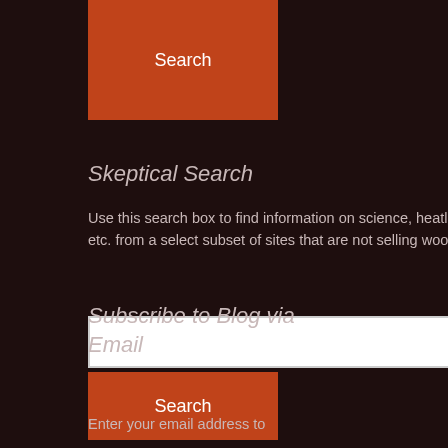[Figure (screenshot): Search button (orange/burnt-red) at top of page, partially visible]
Skeptical Search
Use this search box to find information on science, heatlh, etc. from a select subset of sites that are not selling woo.
[Figure (screenshot): White text input search box]
[Figure (screenshot): Orange Search button]
Subscribe to Blog via Email
Enter your email address to